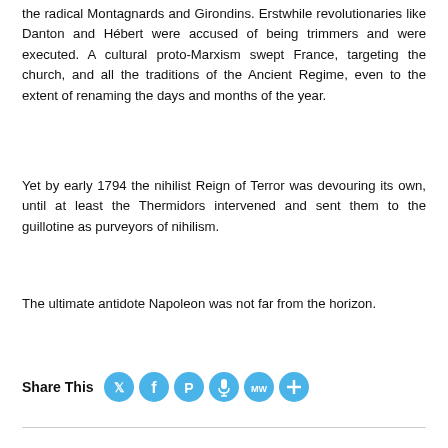the radical Montagnards and Girondins. Erstwhile revolutionaries like Danton and Hébert were accused of being trimmers and were executed. A cultural proto-Marxism swept France, targeting the church, and all the traditions of the Ancient Regime, even to the extent of renaming the days and months of the year.
Yet by early 1794 the nihilist Reign of Terror was devouring its own, until at least the Thermidors intervened and sent them to the guillotine as purveyors of nihilism.
The ultimate antidote Napoleon was not far from the horizon.
Share This